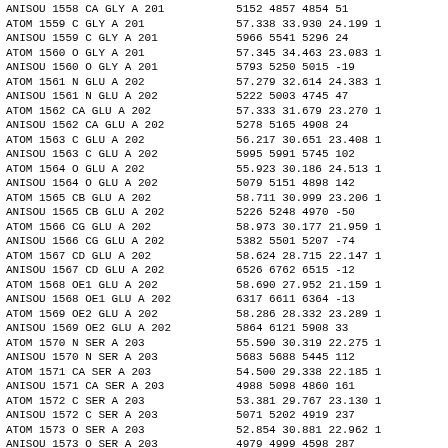| ANISOU 1558 | CA  GLY A 201 | 5152  4857  4854    51 |
| ATOM    1559 | C   GLY A 201 | 57.338  33.930  24.199  1 |
| ANISOU 1559 | C   GLY A 201 | 5966  5541  5296    24 |
| ATOM    1560 | O   GLY A 201 | 57.345  34.463  23.083  1 |
| ANISOU 1560 | O   GLY A 201 | 5793  5250  5015   -19 |
| ATOM    1561 | N   GLU A 202 | 57.279  32.614  24.383  1 |
| ANISOU 1561 | N   GLU A 202 | 5222  5003  4745    47 |
| ATOM    1562 | CA  GLU A 202 | 57.333  31.679  23.270  1 |
| ANISOU 1562 | CA  GLU A 202 | 5278  5165  4908    24 |
| ATOM    1563 | C   GLU A 202 | 56.217  30.651  23.408  1 |
| ANISOU 1563 | C   GLU A 202 | 5995  5991  5745   102 |
| ATOM    1564 | O   GLU A 202 | 55.923  30.186  24.513  1 |
| ANISOU 1564 | O   GLU A 202 | 5079  5151  4898   142 |
| ATOM    1565 | CB  GLU A 202 | 58.711  30.999  23.206  1 |
| ANISOU 1565 | CB  GLU A 202 | 5226  5248  4970   -50 |
| ATOM    1566 | CG  GLU A 202 | 58.973  30.177  21.959  1 |
| ANISOU 1566 | CG  GLU A 202 | 5382  5501  5207   -74 |
| ATOM    1567 | CD  GLU A 202 | 58.624  28.715  22.147  1 |
| ANISOU 1567 | CD  GLU A 202 | 6526  6762  6515   -12 |
| ATOM    1568 | OE1 GLU A 202 | 58.690  27.952  21.159  1 |
| ANISOU 1568 | OE1 GLU A 202 | 6317  6611  6364   -13 |
| ATOM    1569 | OE2 GLU A 202 | 58.286  28.332  23.289  1 |
| ANISOU 1569 | OE2 GLU A 202 | 5864  6121  5908    33 |
| ATOM    1570 | N   SER A 203 | 55.590  30.319  22.275  1 |
| ANISOU 1570 | N   SER A 203 | 5683  5688  5445   112 |
| ATOM    1571 | CA  SER A 203 | 54.500  29.338  22.185  1 |
| ANISOU 1571 | CA  SER A 203 | 4988  5098  4860   161 |
| ATOM    1572 | C   SER A 203 | 53.381  29.767  23.130  1 |
| ANISOU 1572 | C   SER A 203 | 5071  5202  4919   237 |
| ATOM    1573 | O   SER A 203 | 52.854  30.881  22.962  1 |
| ANISOU 1573 | O   SER A 203 | 4979  4999  4598   287 |